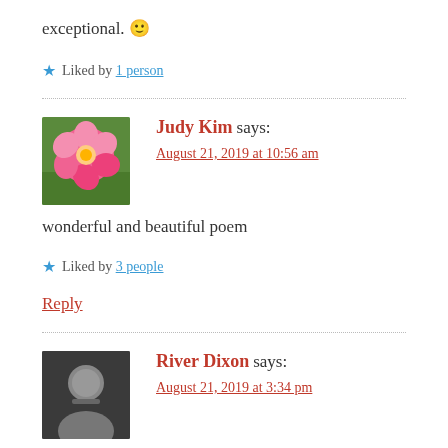exceptional. 🙂
★ Liked by 1 person
Judy Kim says: August 21, 2019 at 10:56 am
wonderful and beautiful poem
★ Liked by 3 people
Reply
River Dixon says: August 21, 2019 at 3:34 pm